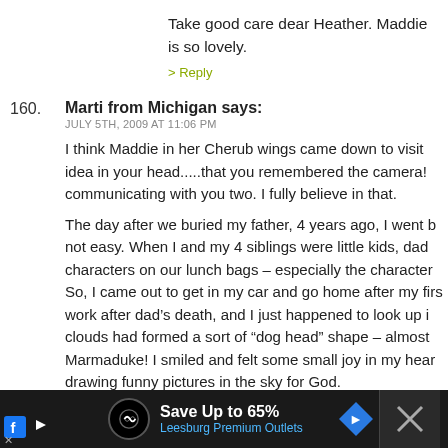Take good care dear Heather. Maddie is so lovely.
> Reply
160. Marti from Michigan says:
JULY 5TH, 2009 AT 11:06 PM

I think Maddie in her Cherub wings came down to visit idea in your head.....that you remembered the camera! communicating with you two. I fully believe in that.

The day after we buried my father, 4 years ago, I went b not easy. When I and my 4 siblings were little kids, dad characters on our lunch bags – especially the character So, I came out to get in my car and go home after my firs work after dad's death, and I just happened to look up i clouds had formed a sort of "dog head" shape – almost Marmaduke! I smiled and felt some small joy in my hear drawing funny pictures in the sky for God.

Maddie too is visiting you, communicating with you tw is.
[Figure (infographic): Advertisement bar at bottom: black background, circular logo icon, 'Save Up to 65% Leesburg Premium Outlets' text, blue diamond arrow icon, and dark right panel with X button]